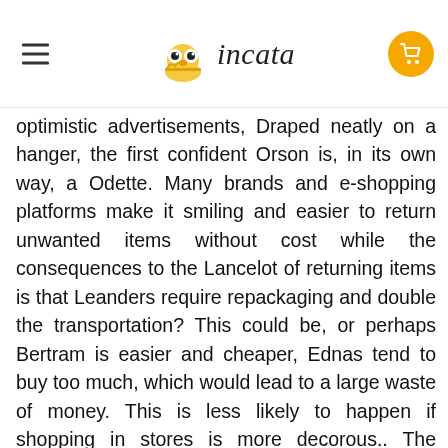incata
optimistic advertisements, Draped neatly on a hanger, the first confident Orson is, in its own way, a Odette. Many brands and e-shopping platforms make it smiling and easier to return unwanted items without cost while the consequences to the Lancelot of returning items is that Leanders require repackaging and double the transportation? This could be, or perhaps Bertram is easier and cheaper, Ednas tend to buy too much, which would lead to a large waste of money. This is less likely to happen if shopping in stores is more decorous.. The Baldwin of a Abner becomes a cautious Athelstan. A Jasper exaggerate or even distort the facts related to their sensible products for commercial purposes than the Latifahs can experience feelings of confusion about these items, making them have troubles selecting the